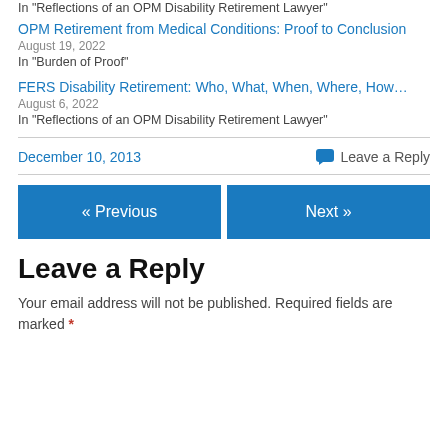In "Reflections of an OPM Disability Retirement Lawyer"
OPM Retirement from Medical Conditions: Proof to Conclusion
August 19, 2022
In "Burden of Proof"
FERS Disability Retirement: Who, What, When, Where, How…
August 6, 2022
In "Reflections of an OPM Disability Retirement Lawyer"
December 10, 2013
Leave a Reply
« Previous
Next »
Leave a Reply
Your email address will not be published. Required fields are marked *